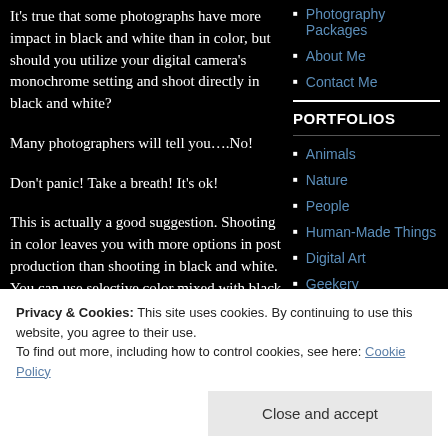It's true that some photographs have more impact in black and white than in color, but should you utilize your digital camera's monochrome setting and shoot directly in black and white?
Photography Packages
About Me
Contact Me
PORTFOLIOS
Animals
Nature
People
Human-Made Things
Digital Art
Geekery
Many photographers will tell you….No!
Don't panic!  Take a breath!  It's ok!
This is actually a good suggestion.  Shooting in color leaves you with more options in post production than shooting in black and white. You can use selective color mixed with black
Privacy & Cookies: This site uses cookies. By continuing to use this website, you agree to their use.
To find out more, including how to control cookies, see here: Cookie Policy
Close and accept